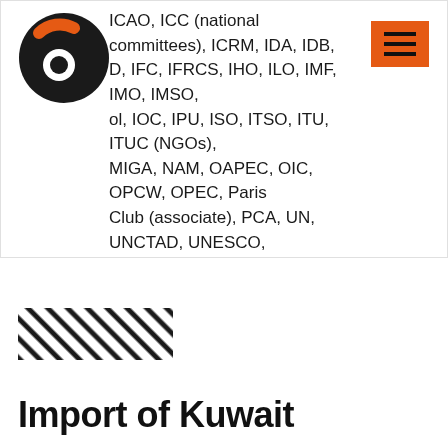ICAO, ICC (national committees), ICRM, IDA, IDB, D, IFC, IFRCS, IHO, ILO, IMF, IMO, IMSO, ol, IOC, IPU, ISO, ITSO, ITU, ITUC (NGOs), MIGA, NAM, OAPEC, OIC, OPCW, OPEC, Paris Club (associate), PCA, UN, UNCTAD, UNESCO, UNIDO, UNRWA, UN Security Council (temporary), UNWTO, UPU, WCO, WFTU (NGOs), WHO, WIPO, WMO, WTO
[Figure (logo): Circular logo with dark background and orange/white circular design elements]
[Figure (other): Orange hamburger menu icon (three horizontal lines)]
[Figure (illustration): Diagonal black hatching / stripe pattern decorative element]
Import of Kuwait